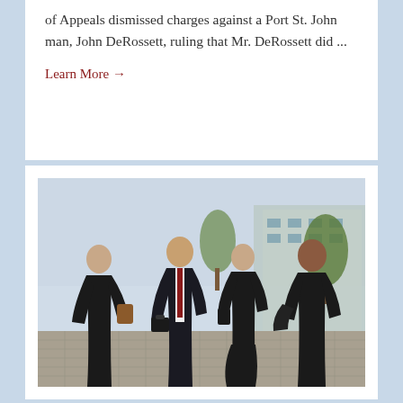of Appeals dismissed charges against a Port St. John man, John DeRossett, ruling that Mr. DeRossett did ...
Learn More →
[Figure (photo): Four legal professionals dressed in black formal attire walking confidently outdoors near a courthouse or office building. A man in a suit with a red tie is in the center, accompanied by three women. Palm trees and a modern building are visible in the background.]